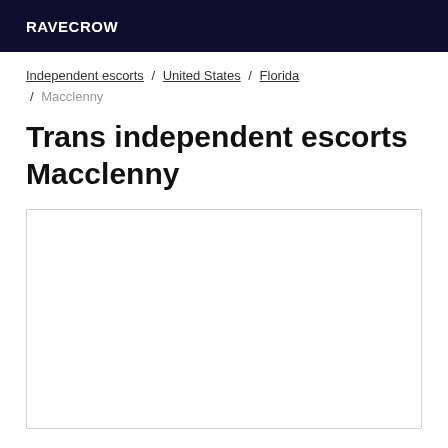RAVECROW
Independent escorts / United States / Florida / Macclenny
Trans independent escorts Macclenny
[Figure (other): Empty white listing/content box with light gray border]